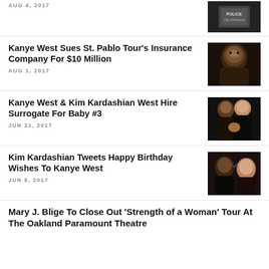AUG 4, 2017
[Figure (photo): Police uniform patch or badge reading 'POLICE City of Fremont']
Kanye West Sues St. Pablo Tour's Insurance Company For $10 Million
AUG 1, 2017
[Figure (photo): Close-up portrait of Kanye West looking serious]
Kanye West & Kim Kardashian West Hire Surrogate For Baby #3
JUN 21, 2017
[Figure (photo): Kanye West and Kim Kardashian with child at an event]
Kim Kardashian Tweets Happy Birthday Wishes To Kanye West
JUN 8, 2017
[Figure (photo): Kanye West and Kim Kardashian at an event, smiling]
Mary J. Blige To Close Out 'Strength of a Woman' Tour At The Oakland Paramount Theatre